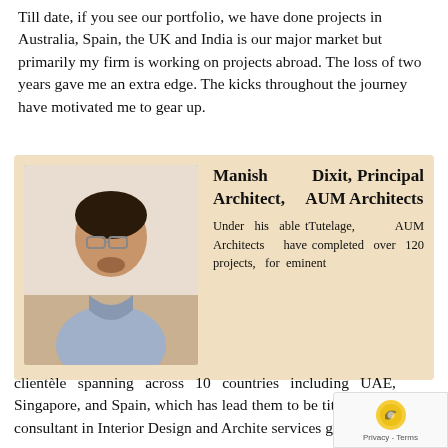Till date, if you see our portfolio, we have done projects in Australia, Spain, the UK and India is our major market but primarily my firm is working on projects abroad. The loss of two years gave me an extra edge. The kicks throughout the journey have motivated me to gear up.
[Figure (photo): Profile photo of Manish Dixit, a man wearing glasses and a light blue shirt, smiling, with a light background.]
Manish Dixit, Principal Architect, AUM Architects
Under his able tTutelage, AUM Architects have completed over 120 projects, for eminent clientèle spanning across 10 countries including UAE, Singapore, and Spain, which has lead them to be title leading consultant in Interior Design and Archite services globally.